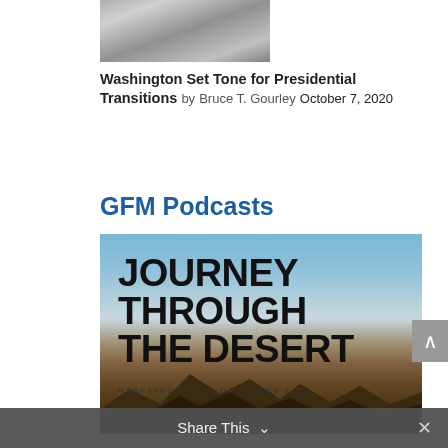[Figure (photo): Thumbnail photo of a person, black and white, partially visible at top of page]
Washington Set Tone for Presidential Transitions by Bruce T. Gourley October 7, 2020
GFM Podcasts
[Figure (photo): Podcast cover art for 'Journey Through the Desert' narrated by Wanda Hardee Kidd, showing desert landscape with mountains and sky]
Share This  ×